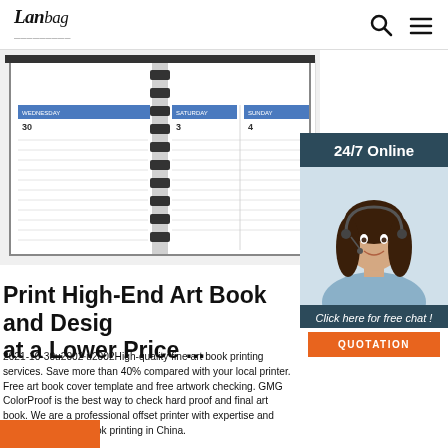Lanbag | navigation with search and menu icons
[Figure (photo): Open spiral-bound planner/agenda showing weekly calendar pages with blue header rows and numbered dates 30, 3, 4]
[Figure (infographic): Customer service chat widget with dark blue background showing '24/7 Online', photo of smiling woman with headset, 'Click here for free chat!' text, and orange QUOTATION button]
Print High-End Art Book and Design at a Lower Price ...
2021-10-30u2002·u2002High-quality fine art book printing services. Save more than 40% compared with your local printer. Free art book cover template and free artwork checking. GMG ColorProof is the best way to check hard proof and final art book. We are a professional offset printer with expertise and experience on art book printing in China.
[Figure (other): Orange button at bottom left (partially visible)]